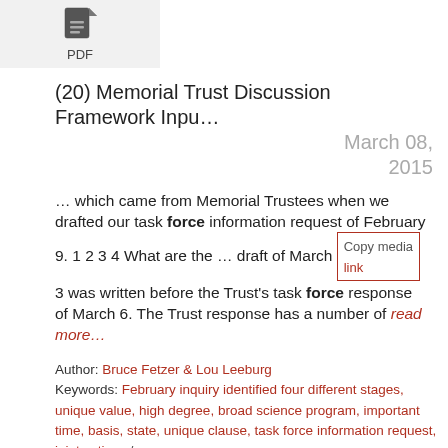[Figure (other): PDF document icon with label PDF below it, on a light gray background]
(20) Memorial Trust Discussion Framework Inpu…   March 08, 2015
… which came from Memorial Trustees when we drafted our task force information request of February 9. 1 2 3 4 What are the … draft of March 3 was written before the Trust's task force response of March 6. The Trust response has a number of read more…
Author: Bruce Fetzer & Lou Leeburg
Keywords: February inquiry identified four different stages, unique value, high degree, broad science program, important time, basis, state, unique clause, task force information request, joint action show more…